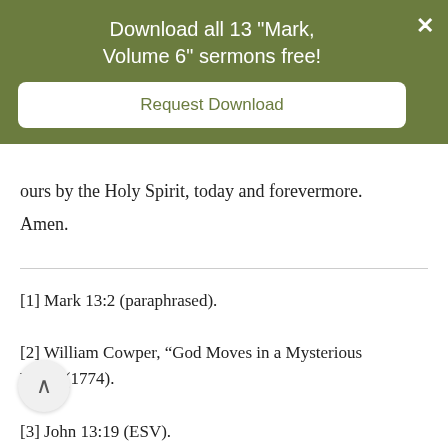Download all 13 "Mark, Volume 6" sermons free!
Request Download
ours by the Holy Spirit, today and forevermore. Amen.
[1] Mark 13:2 (paraphrased).
[2] William Cowper, “God Moves in a Mysterious Wâ€¦” (1774).
[3] John 13:19 (ESV).